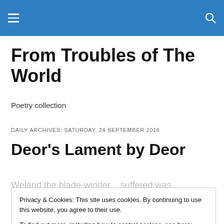From Troubles of The World
Poetry collection
DAILY ARCHIVES: SATURDAY, 24 SEPTEMBER 2016
Deor's Lament by Deor
Weland the blade-winder    suffered was
Privacy & Cookies: This site uses cookies. By continuing to use this website, you agree to their use.
To find out more, including how to control cookies, see here: Cookie Policy
lithe sinew-bonds    on the better man.